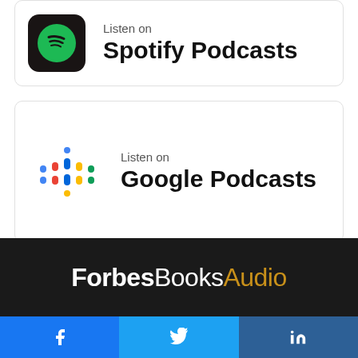[Figure (logo): Spotify Podcasts badge - partial view showing Spotify green logo on black rounded square background with text 'Listen on Spotify Podcasts']
[Figure (logo): Google Podcasts badge showing colorful Google Podcasts icon with text 'Listen on Google Podcasts']
[Figure (logo): ForbesBooksAudio logo in white and gold on dark background]
[Figure (infographic): Social sharing buttons: Facebook (blue), Twitter (light blue), LinkedIn (dark blue)]